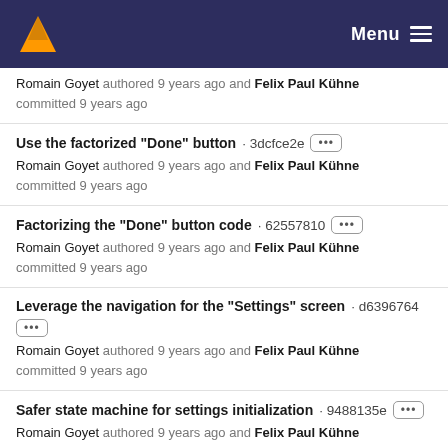Menu
Romain Goyet authored 9 years ago and Felix Paul Kühne committed 9 years ago
Use the factorized "Done" button · 3dcfce2e
Romain Goyet authored 9 years ago and Felix Paul Kühne committed 9 years ago
Factorizing the "Done" button code · 62557810
Romain Goyet authored 9 years ago and Felix Paul Kühne committed 9 years ago
Leverage the navigation for the "Settings" screen · d6396764
Romain Goyet authored 9 years ago and Felix Paul Kühne committed 9 years ago
Safer state machine for settings initialization · 9488135e
Romain Goyet authored 9 years ago and Felix Paul Kühne